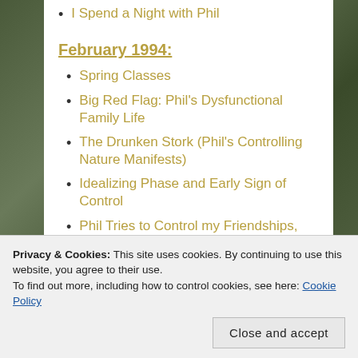I Spend a Night with Phil
February 1994:
Spring Classes
Big Red Flag: Phil's Dysfunctional Family Life
The Drunken Stork (Phil's Controlling Nature Manifests)
Idealizing Phase and Early Sign of Control
Phil Tries to Control my Friendships, Unfair Accusations from his Dad and Both...
Privacy & Cookies: This site uses cookies. By continuing to use this website, you agree to their use.
To find out more, including how to control cookies, see here: Cookie Policy
What have to Come — Phil More Cha...